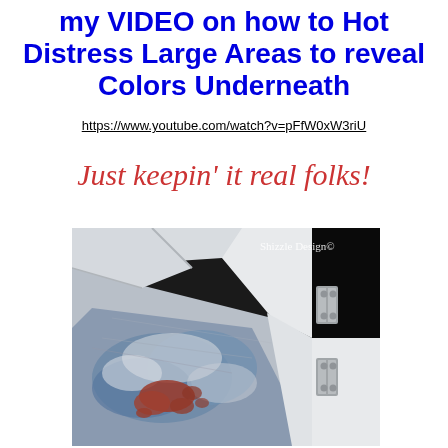my VIDEO on how to Hot Distress Large Areas to reveal Colors Underneath
https://www.youtube.com/watch?v=pFfW0xW3riU
Just keepin' it real folks!
[Figure (photo): Close-up photo of a distressed painted cabinet door showing blue, white, and red/rust paint layers with visible brush strokes and worn areas. A metal hinge is visible on the right side. Watermark reads 'Shizzle Design©'.]